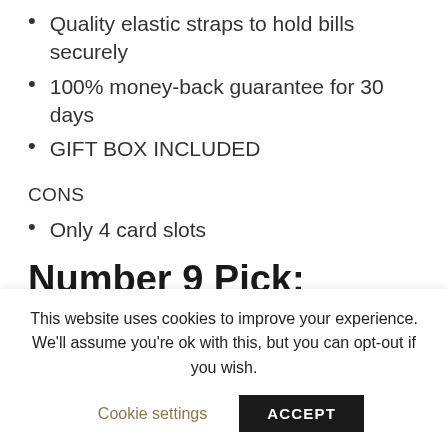Quality elastic straps to hold bills securely
100% money-back guarantee for 30 days
GIFT BOX INCLUDED
CONS
Only 4 card slots
Number 9 Pick: Himber
This website uses cookies to improve your experience. We'll assume you're ok with this, but you can opt-out if you wish.
Cookie settings
ACCEPT